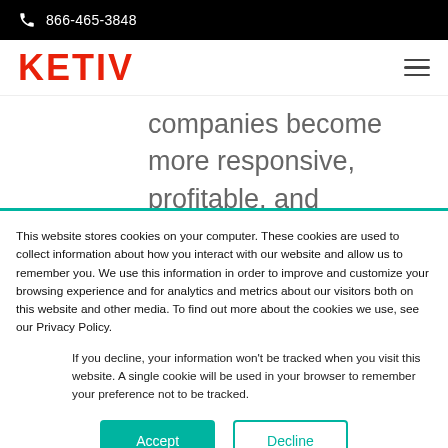866-465-3848
[Figure (logo): KETIV logo in red bold text]
companies become more responsive, profitable, and sustainable with an
This website stores cookies on your computer. These cookies are used to collect information about how you interact with our website and allow us to remember you. We use this information in order to improve and customize your browsing experience and for analytics and metrics about our visitors both on this website and other media. To find out more about the cookies we use, see our Privacy Policy.
If you decline, your information won't be tracked when you visit this website. A single cookie will be used in your browser to remember your preference not to be tracked.
Accept
Decline